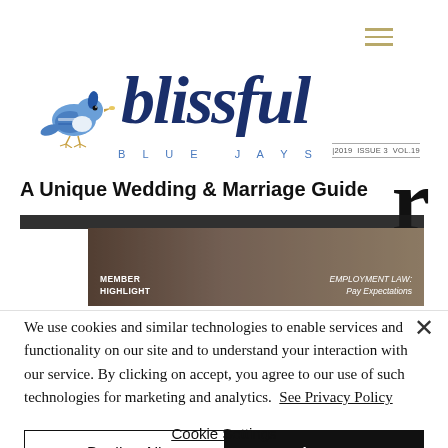[Figure (logo): Blissful Blue Jays logo with a blue jay bird illustration and cursive script text reading 'blissful' with 'BLUE JAYS' in spaced capitals below]
|2019 ISSUE 3 VOL.19
A Unique Wedding & Marriage Guide
[Figure (photo): Photo strip showing a magazine with 'MEMBER HIGHLIGHT' on the left and 'EMPLOYMENT LAW: Pay Expectations' on the right]
We use cookies and similar technologies to enable services and functionality on our site and to understand your interaction with our service. By clicking on accept, you agree to our use of such technologies for marketing and analytics.  See Privacy Policy
Decline All
Accept
Cookie Settings